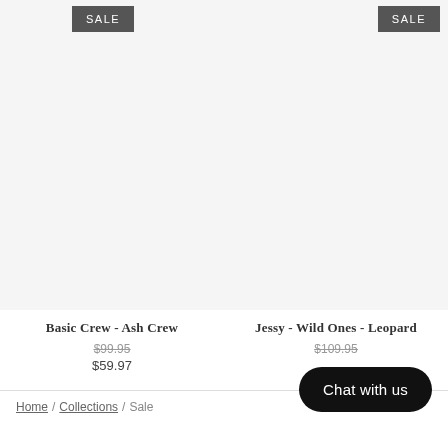SALE
SALE
Basic Crew - Ash Crew
$99.95
$59.97
Jessy - Wild Ones - Leopard
$109.95
Chat with us
Home / Collections / Sale